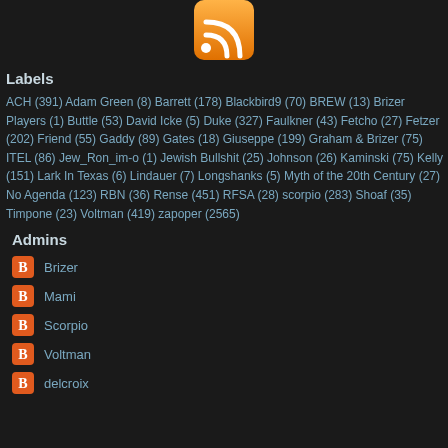[Figure (logo): RSS feed icon - orange rounded square with white RSS signal waves]
Labels
ACH (391) Adam Green (8) Barrett (178) Blackbird9 (70) BREW (13) Brizer Players (1) Buttle (53) David Icke (5) Duke (327) Faulkner (43) Fetcho (27) Fetzer (202) Friend (55) Gaddy (89) Gates (18) Giuseppe (199) Graham & Brizer (75) ITEL (86) Jew_Ron_im-o (1) Jewish Bullshit (25) Johnson (26) Kaminski (75) Kelly (151) Lark In Texas (6) Lindauer (7) Longshanks (5) Myth of the 20th Century (27) No Agenda (123) RBN (36) Rense (451) RFSA (28) scorpio (283) Shoaf (35) Timpone (23) Voltman (419) zapoper (2565)
Admins
Brizer
Mami
Scorpio
Voltman
delcroix